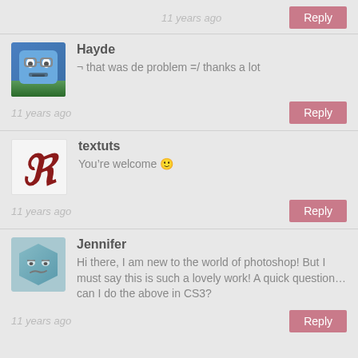11 years ago
Reply
Hayde
¬ that was de problem =/ thanks a lot
11 years ago
Reply
textuts
You're welcome 🙂
11 years ago
Reply
Jennifer
Hi there, I am new to the world of photoshop! But I must say this is such a lovely work! A quick question… can I do the above in CS3?
11 years ago
Reply